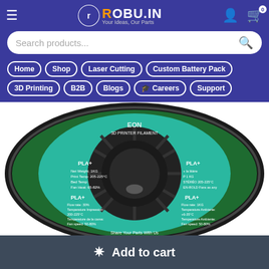[Figure (screenshot): Robu.in website header with logo, hamburger menu, user and cart icons, search bar, and navigation buttons including Home, Shop, Laser Cutting, Custom Battery Pack, 3D Printing, B2B, Blogs, Careers, Support]
[Figure (photo): Green PLA+ 3D printer filament spool (1kg) with teal/green label showing PLA+ specs, QR codes, and 'Share Your Parts With Us' text]
Add to cart